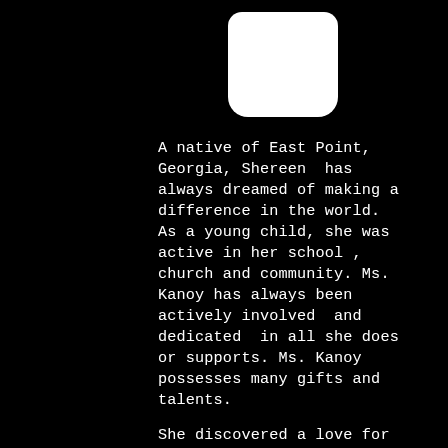[Figure (other): Black lanyard badge card with a white rounded rectangular cutout at the top for the lanyard hook.]
A native of East Point, Georgia, Shereen has always dreamed of making a difference in the world. As a young child, she was active in her school , church and community. Ms. Kanoy has always been actively involved and dedicated in all she does or supports. Ms. Kanoy possesses many gifts and talents.
She discovered a love for creative writing as a teenager, during those years she would journal as well as create poetic pieces.
Shereen began to develop leadership skills through her involvement in various organizations, this helped to mold her into the leader she is today. She went on